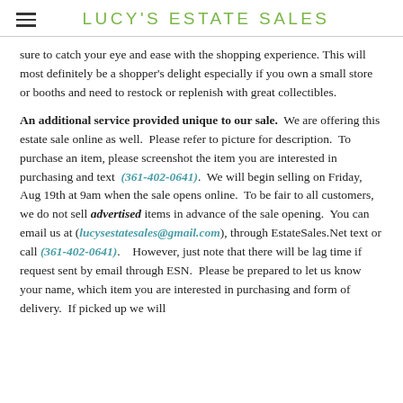LUCY'S ESTATE SALES
sure to catch your eye and ease with the shopping experience. This will most definitely be a shopper's delight especially if you own a small store or booths and need to restock or replenish with great collectibles.
An additional service provided unique to our sale. We are offering this estate sale online as well. Please refer to picture for description. To purchase an item, please screenshot the item you are interested in purchasing and text (361-402-0641). We will begin selling on Friday, Aug 19th at 9am when the sale opens online. To be fair to all customers, we do not sell advertised items in advance of the sale opening. You can email us at (lucysestatesales@gmail.com), through EstateSales.Net text or call (361-402-0641). However, just note that there will be lag time if request sent by email through ESN. Please be prepared to let us know your name, which item you are interested in purchasing and form of delivery. If picked up we will...